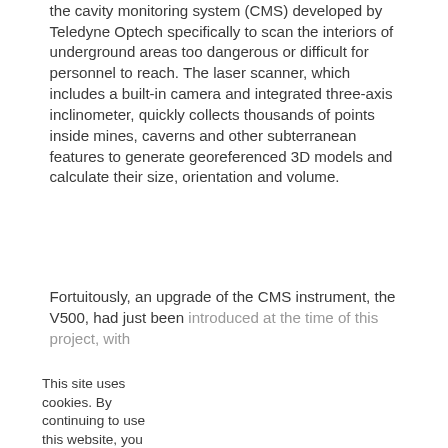the cavity monitoring system (CMS) developed by Teledyne Optech specifically to scan the interiors of underground areas too dangerous or difficult for personnel to reach. The laser scanner, which includes a built-in camera and integrated three-axis inclinometer, quickly collects thousands of points inside mines, caverns and other subterranean features to generate georeferenced 3D models and calculate their size, orientation and volume.
Fortuitously, an upgrade of the CMS instrument, the V500, had just been introduced at the time of this project, with
This site uses cookies. By continuing to use this website, you agree to our Cookies Policy. Agree
despite the suitability of the cavity scanner, challenges remained. Uncertainty related to